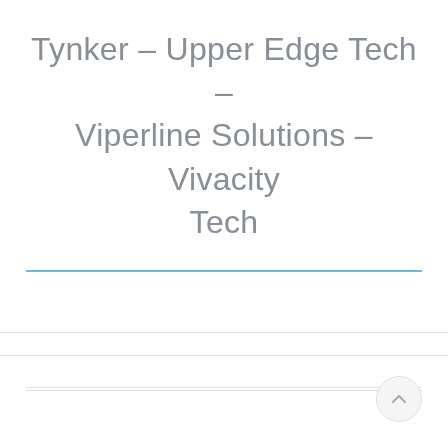Tynker – Upper Edge Tech – Viperline Solutions – Vivacity Tech